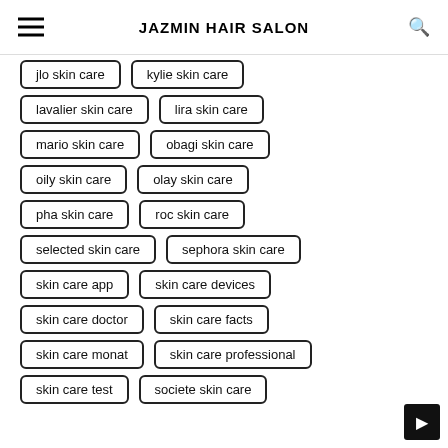JAZMIN HAIR SALON
jlo skin care
kylie skin care
lavalier skin care
lira skin care
mario skin care
obagi skin care
oily skin care
olay skin care
pha skin care
roc skin care
selected skin care
sephora skin care
skin care app
skin care devices
skin care doctor
skin care facts
skin care monat
skin care professional
skin care test
societe skin care